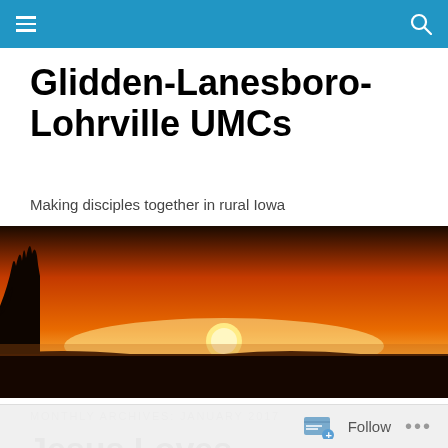Navigation bar with hamburger menu and search icon
Glidden-Lanesboro-Lohrville UMCs
Making disciples together in rural Iowa
[Figure (photo): Panoramic sunset photo showing the sun setting on the horizon with an orange and red sky, silhouetted trees on the left, over a flat rural Iowa landscape.]
MONTHLY ARCHIVES: JANUARY 2017
Jesus Loves
Follow ...